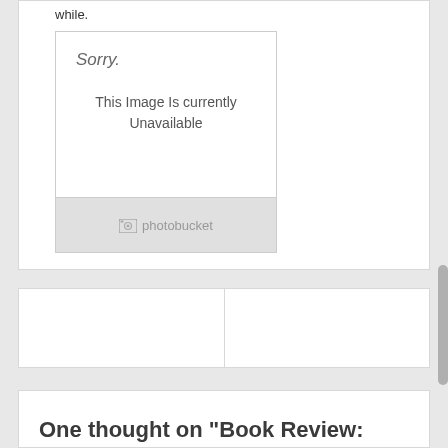while.
[Figure (screenshot): Photobucket placeholder image showing 'Sorry. This Image Is currently Unavailable' with Photobucket logo footer]
One thought on “Book Review: